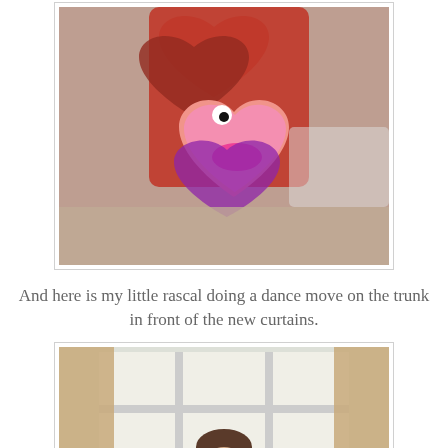[Figure (photo): Close-up photo of stacked foam or felt heart shapes in red, pink, and purple colors with a googly eye, craft project on a table]
And here is my little rascal doing a dance move on the trunk in front of the new curtains.
[Figure (photo): Photo of a young toddler girl standing in front of a bright window with curtains that have brown/tan fabric panels, the child is looking at the camera]